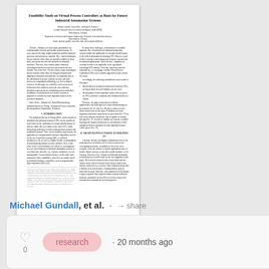Feasibility Study on Virtual Process Controllers as Basis for Future Industrial Automation Systems
Michael Gundall*, Carlos Dias*, and Hans D. Schotten* *German Research Center for Artificial Intelligence GmbH (DFKI), Kaiserslautern, Germany *Department of Electrical and Computer Engineering, Technische Universität Kaiserslautern, Kaiserslautern, Germany Email: {michael.gundall, carlos.dias, hans_dieter.schotten}@dfki.de
Abstract—Industry 4.0 offers many possibilities for creating highly efficient and flexible manufacturing. To cover most of the huge, highly automated and thus digitized processes and systems are required. Here, most technologies known from the office floor are basically suitable for these tasks, but cannot meet the full demands of industrial machines. Therefore, they cannot replace industrial technologies and devices that have performed well over decades 'out of the box'. For this reason, many technologies known from the office floor are being investigated and adapting to industrial environments. An important hole of the substitution of proven controls, as more and more devices are computation offloading, e.g., due to limited resources. In this paper we extend the work on our novel architecture that enables to assess the core and more industrial requirements by virtualizing process controllers. In addition, a method based on a factory scenario is proposed to evaluate the most important features of the presented estimators.
Index Terms—Industry 4.0, Smart Manufacturing, Industrial Internet of Things, Virtualized Process Controller, Reconfiguration, Deployment, Resilience
I. Introduction
The Industrial Internet of Things (IIoT), which consists of industrial cyber physical systems (CPS), can be considered as the basis for the realization of a smart manufacturing. In order to realize this, new kinds of use cases (UC), which bring along challenges for both communication systems and automation systems. There can be mobility requirements, the application of computationally intensive algorithms, such as for the use of machine learning (ML), or artificial intelligence (AI), as well as a highly flexible reconfiguration of manufacturing systems or entire factories. Here, in the sense of the German Industry 4.0 vision [1], investigations on even redevelopment of industrial automation systems in very short time intervals, e.g., relocation workplace, are not unimaginable. Certain industry devices, on the other hand, cannot offer these capabilities, since they are usually based on dedicated hardware controllers, such as programmable logic controllers (PLCs) [2].
To tackle these challenges, virtualization is a suitable approach. The virtualization of industrial automation systems enables the application of concepts already known in the field of information technology (IT). However, most of these concepts cannot support the dynamic requirements of industrial applications 'out of the box', adaptions are essential in order to be applicable in the operational technology (OT) domain. Therefore, based on a specific industrial use, we investigate whether Virtual Process Controllers (VPCs) are a feasible approach in some critical UC areas.
Specification of an abstract architecture based on VPCs, serving as basis for novel Industry 4.0 use cases.
Identification of most important features that are given by VPCs, and their evaluation and validation based on a testbed.
II. Smart Manufacturing in Industry 4.0
A flexible, flexible and adaptive production is one of the main objectives in Industry 4.0. In order to achieve the corresponding benefits, a multitude of novel use cases emerged, where the number of mobile applications such as mobile robotic systems, co-operative goods transport, or via learning.
This research was supported by the German Federal Ministry for Economic Affairs and Energy. Michael Gundall is the major presenting author of this contribution. The proceedings of this presentation are to be announced. This is a paper from a work accepted but not yet published at the IEEE 32nd International Conference on Enabling Technology (IET): Place cite as: M. Gundall, C. Dias, and H.D. Schotten, Feasibility Study on Virtual Process Controllers as Basis for Future Industrial Automation Systems, in Proc. IEEE 32nd International Conference on Internet of Technology (ICIT) IEEE, 202-.
Michael Gundall, et al. · share
research · 20 months ago